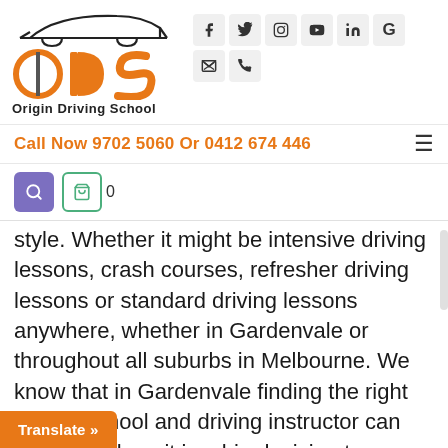[Figure (logo): ODS Origin Driving School logo with orange text and car silhouette above]
[Figure (infographic): Social media icons: Facebook, Twitter, Instagram, YouTube, LinkedIn, Google, Email, Phone]
Call Now 9702 5060 Or 0412 674 446
style. Whether it might be intensive driving lessons, crash courses, refresher driving lessons or standard driving lessons anywhere, whether in Gardenvale or throughout all suburbs in Melbourne. We know that in Gardenvale finding the right driving school and driving instructor can t job as it is a big decision to
Translate »